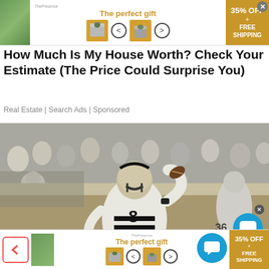[Figure (other): Advertisement banner: 'The perfect gift' with product images, navigation arrows, and '35% OFF + FREE SHIPPING' badge]
How Much Is My House Worth? Check Your Estimate (The Price Could Surprise You)
Real Estate | Search Ads | Sponsored
[Figure (photo): College football quarterback wearing number 8 white uniform (Vanderbilt Commodores) in throwing motion, crowds in background]
[Figure (other): Bottom advertisement banner: 'The perfect gift' with same product images, '35% OFF + FREE SHIPPING' badge]